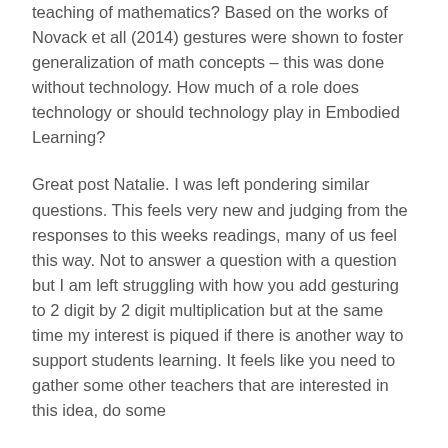teaching of mathematics? Based on the works of Novack et all (2014) gestures were shown to foster generalization of math concepts – this was done without technology. How much of a role does technology or should technology play in Embodied Learning?
Great post Natalie. I was left pondering similar questions. This feels very new and judging from the responses to this weeks readings, many of us feel this way. Not to answer a question with a question but I am left struggling with how you add gesturing to 2 digit by 2 digit multiplication but at the same time my interest is piqued if there is another way to support students learning. It feels like you need to gather some other teachers that are interested in this idea, do some